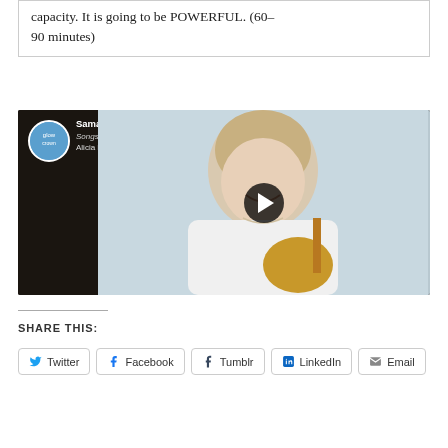capacity. It is going to be POWERFUL. (60–90 minutes)
[Figure (screenshot): YouTube video thumbnail showing 'Samastah Lokah Sukhino Bevhantu' by Alicia Mathewson, Songs & Chants album. A woman with short blonde hair is smiling, holding a guitar, wearing a white lace top. The video has a dark background with a play button overlay. A circular channel logo appears in the top left.]
SHARE THIS:
Twitter
Facebook
Tumblr
LinkedIn
Email